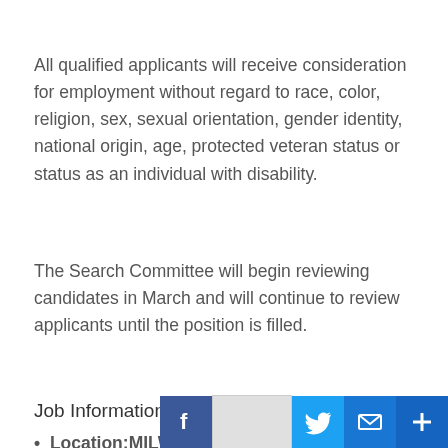All qualified applicants will receive consideration for employment without regard to race, color, religion, sex, sexual orientation, gender identity, national origin, age, protected veteran status or status as an individual with disability.
The Search Committee will begin reviewing candidates in March and will continue to review applicants until the position is filled.
Job Information
Location: MILWAUKEE, Wisconsin, 53202, United